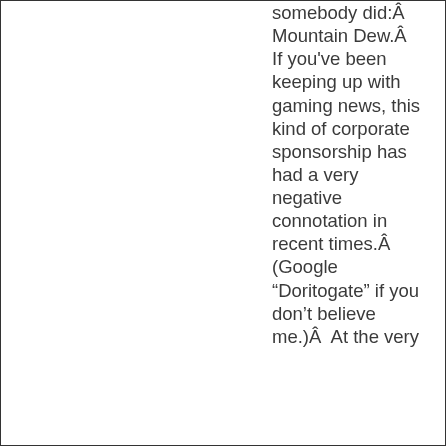somebody did:Â Mountain Dew.Â  If you've been keeping up with gaming news, this kind of corporate sponsorship has had a very negative connotation in recent times.Â  (Google “Doritogate” if you don’t believe me.)Â  At the very